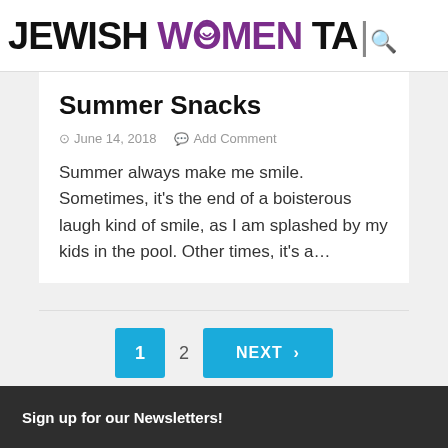JEWISH WOMEN TALK
Summer Snacks
June 14, 2018   Add Comment
Summer always make me smile. Sometimes, it's the end of a boisterous laugh kind of smile, as I am splashed by my kids in the pool. Other times, it's a…
1  2  NEXT >
Sign up for our Newsletters!